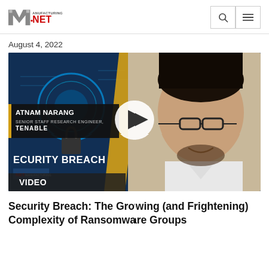Manufacturing.net
August 4, 2022
[Figure (screenshot): Video thumbnail showing a man with glasses and beard (Satnam Narang, Senior Staff Research Engineer, Tenable) on the right side and a cybersecurity graphic on the left side with a padlock and blue digital background. Text on thumbnail reads 'ATNAM NARANG SENIOR STAFF RESEARCH ENGINEER, TENABLE' and 'SECURITY BREACH' with the Manufacturing.net logo. A white play button circle is overlaid in the center. A 'VIDEO' label appears at the bottom left.]
Security Breach: The Growing (and Frightening) Complexity of Ransomware Groups